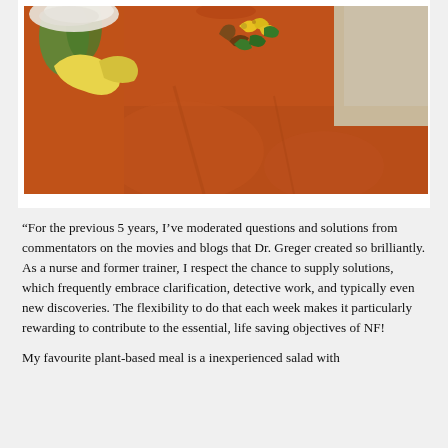[Figure (photo): Person wearing an orange long-sleeve shirt with a floral embroidery design (autumn leaves in yellow, green, brown). They are holding vegetables, including what appears to be a yellow squash or banana pepper. The photo is cropped at mid-torso, head not visible.]
“For the previous 5 years, I’ve moderated questions and solutions from commentators on the movies and blogs that Dr. Greger created so brilliantly. As a nurse and former trainer, I respect the chance to supply solutions, which frequently embrace clarification, detective work, and typically even new discoveries. The flexibility to do that each week makes it particularly rewarding to contribute to the essential, life saving objectives of NF!
My favourite plant-based meal is a inexperienced salad with